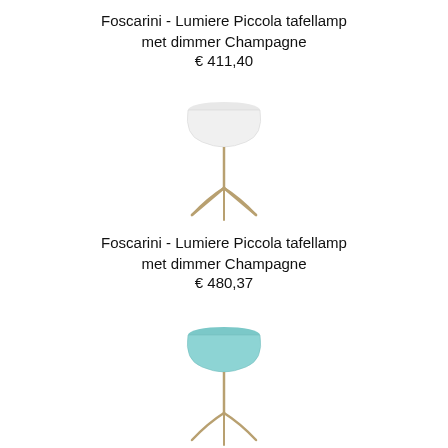Foscarini - Lumiere Piccola tafellamp met dimmer Champagne
€ 411,40
[Figure (photo): Foscarini Lumiere Piccola table lamp with white shade and champagne/gold tripod base]
Foscarini - Lumiere Piccola tafellamp met dimmer Champagne
€ 480,37
[Figure (photo): Foscarini Lumiere Piccola table lamp with light blue/turquoise shade and champagne/gold tripod base]